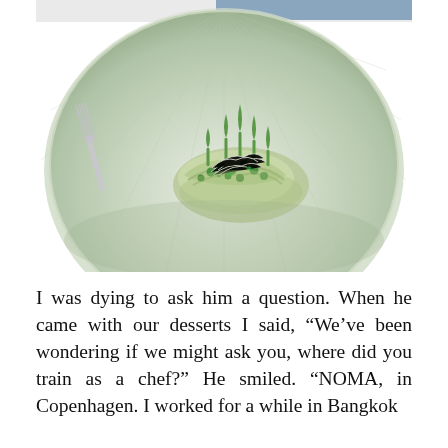[Figure (photo): A fine dining dish presented on a large textured glass plate. The dish features green vegetables (asparagus tips, peas, green herbs) with delicate white threads arranged in the center. A silver fork is visible on the left side. The background shows a white tablecloth and a blue element at the top edge.]
I was dying to ask him a question. When he came with our desserts I said, “We’ve been wondering if we might ask you, where did you train as a chef?” He smiled. “NOMA, in Copenhagen. I worked for a while in Bangkok